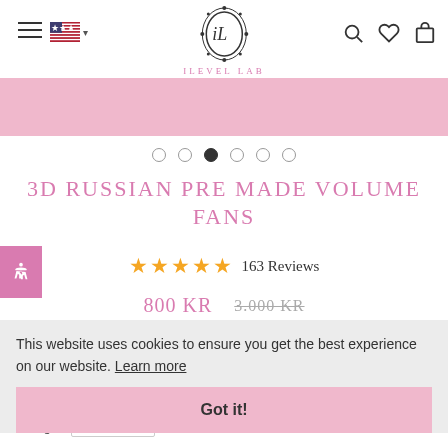[Figure (logo): iLevel Lab ornate oval logo with cursive initials, brand name below in pink]
[Figure (illustration): Pink banner/slideshow area]
3D RUSSIAN PRE MADE VOLUME FANS
★★★★★ 163 Reviews
800 KR   3.000 KR (strikethrough)
This website uses cookies to ensure you get the best experience on our website. Learn more
Curl C
Thickness 0.05
Length 14mm
Got it!